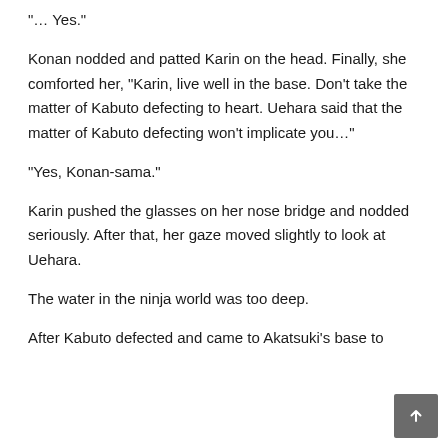“… Yes.”
Konan nodded and patted Karin on the head. Finally, she comforted her, “Karin, live well in the base. Don’t take the matter of Kabuto defecting to heart. Uehara said that the matter of Kabuto defecting won’t implicate you…”
“Yes, Konan-sama.”
Karin pushed the glasses on her nose bridge and nodded seriously. After that, her gaze moved slightly to look at Uehara.
The water in the ninja world was too deep.
After Kabuto defected and came to Akatsuki’s base to